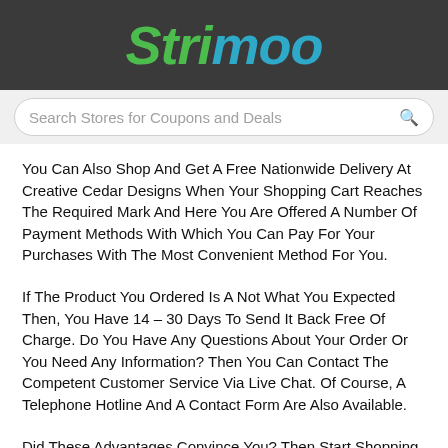Strimoo
Search Stores for Coupons and Deals
You Can Also Shop And Get A Free Nationwide Delivery At Creative Cedar Designs When Your Shopping Cart Reaches The Required Mark And Here You Are Offered A Number Of Payment Methods With Which You Can Pay For Your Purchases With The Most Convenient Method For You.
If The Product You Ordered Is A Not What You Expected Then, You Have 14 – 30 Days To Send It Back Free Of Charge. Do You Have Any Questions About Your Order Or You Need Any Information? Then You Can Contact The Competent Customer Service Via Live Chat. Of Course, A Telephone Hotline And A Contact Form Are Also Available.
Did These Advantages Convince You? Then Start Shopping Now And Use Our Creative